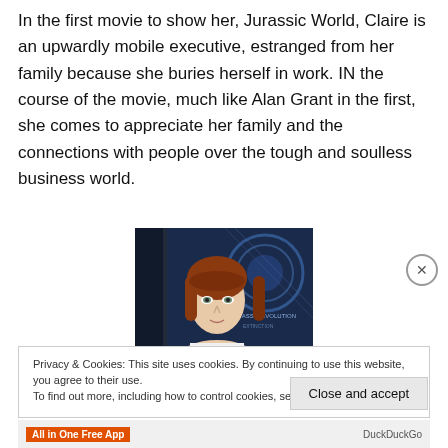In the first movie to show her, Jurassic World, Claire is an upwardly mobile executive, estranged from her family because she buries herself in work. IN the course of the movie, much like Alan Grant in the first, she comes to appreciate her family and the connections with people over the tough and soulless business world.
[Figure (photo): Photo of a red-haired woman (Claire from Jurassic World) with a blue digital display in the background showing dinosaur-related imagery and text.]
Privacy & Cookies: This site uses cookies. By continuing to use this website, you agree to their use.
To find out more, including how to control cookies, see here: Cookie Policy